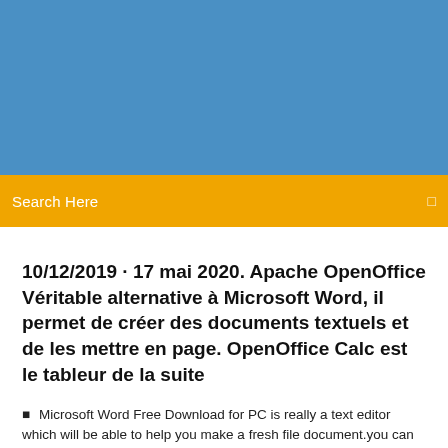[Figure (photo): Blue banner header image at top of webpage]
Search Here
10/12/2019 · 17 mai 2020. Apache OpenOffice Véritable alternative à Microsoft Word, il permet de créer des documents textuels et de les mettre en page. OpenOffice Calc est le tableur de la suite
Microsoft Word Free Download for PC is really a text editor which will be able to help you make a fresh file document.you can edit and make corrections.